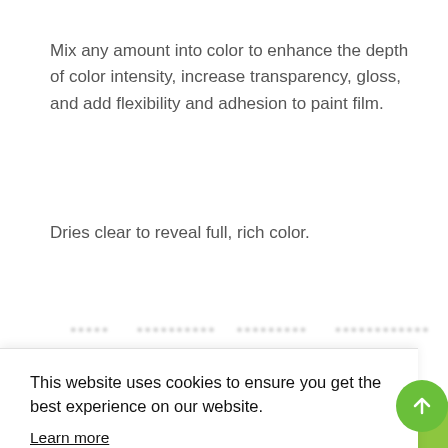Mix any amount into color to enhance the depth of color intensity, increase transparency, gloss, and add flexibility and adhesion to paint film.
Dries clear to reveal full, rich color.
[partially visible/blurred text line]
This website uses cookies to ensure you get the best experience on our website.
Learn more
Dismiss
Allow Cookies
€24.99
−  1  +
Add to cart